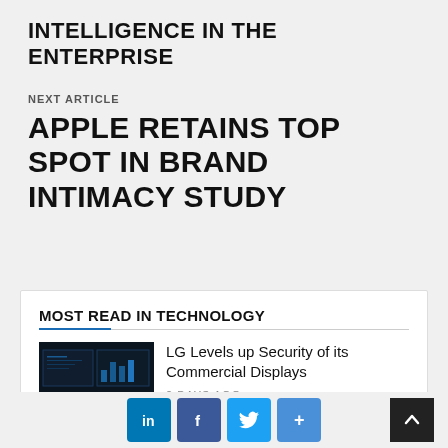INTELLIGENCE IN THE ENTERPRISE
NEXT ARTICLE
APPLE RETAINS TOP SPOT IN BRAND INTIMACY STUDY
MOST READ IN TECHNOLOGY
[Figure (photo): Dark monitor/display screens showing security dashboard interface]
LG Levels up Security of its Commercial Displays
2 DAYS AGO